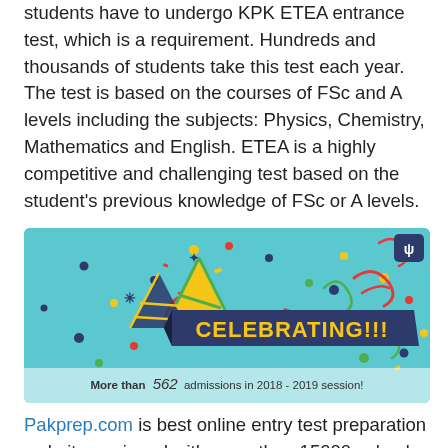students have to undergo KPK ETEA entrance test, which is a requirement. Hundreds and thousands of students take this test each year. The test is based on the courses of FSc and A levels including the subjects: Physics, Chemistry, Mathematics and English. ETEA is a highly competitive and challenging test based on the student's previous knowledge of FSc or A levels.
[Figure (illustration): A celebration-themed graphic with a teal/turquoise background, confetti, party hats, and a dark navy banner reading 'CELEBRATING!!!' in yellow text. Below the banner text reads 'More than 562 admissions in 2018 - 2019 session!' A logo with 'qp' is in the top right corner.]
Pakprep.com is best online entry test preparation website equipped with more than 15000 solved